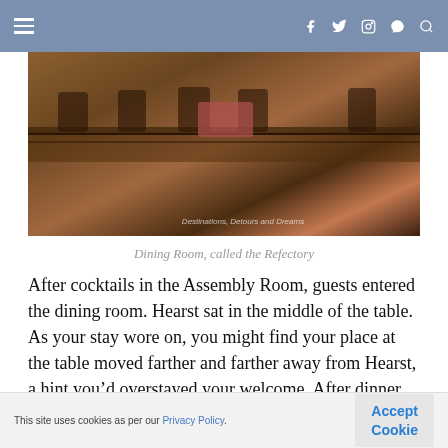≡  f  twitter  instagram  pinterest  search
[Figure (photo): Interior photo of the Dining Room called the Refectory at Hearst Castle, showing a long wooden table with ornate carved chairs and decorative elements.]
Dining Room, called the Refectory
After cocktails in the Assembly Room, guests entered the dining room. Hearst sat in the middle of the table. As your stay wore on, you might find your place at the table moved farther and farther away from Hearst, a hint you'd overstayed your welcome. After dinner, guests joined Hearst and Davies in the Theatre to watch a movie and a newsreel.
This site uses cookies as per our Privacy Policy.